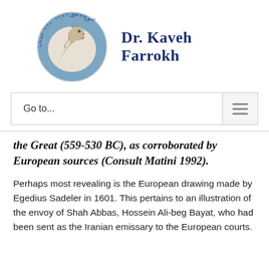[Figure (logo): Dr. Kaveh Farrokh circular logo featuring a horse head sculpture (Persepolis style) on a blue background, surrounded by text in multiple scripts including Persian and other languages around the circle border]
Dr. Kaveh Farrokh
Go to...
the Great (559-530 BC), as corroborated by European sources (Consult Matini 1992).
Perhaps most revealing is the European drawing made by Egedius Sadeler in 1601. This pertains to an illustration of the envoy of Shah Abbas, Hossein Ali-beg Bayat, who had been sent as the Iranian emissary to the European courts.